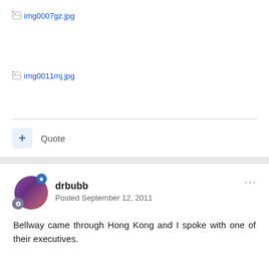[Figure (other): Broken image placeholder with filename img0007gz.jpg]
[Figure (other): Broken image placeholder with filename img0011mj.jpg]
Quote
drbubb
Posted September 12, 2011
Bellway came through Hong Kong and I spoke with one of their executives.